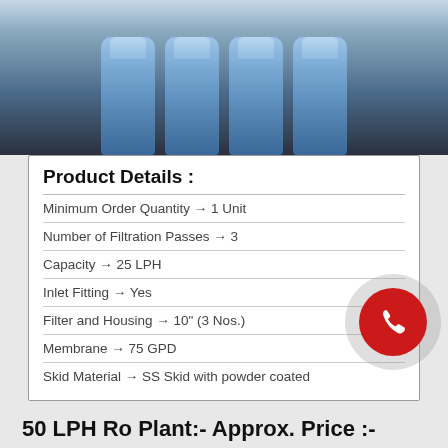[Figure (photo): Photo of blue cylindrical RO filter canisters mounted on a dark metal frame/skid]
Product Details :
Minimum Order Quantity → 1 Unit
Number of Filtration Passes → 3
Capacity → 25 LPH
Inlet Fitting → Yes
Filter and Housing → 10" (3 Nos.)
Membrane → 75 GPD
Skid Material → SS Skid with powder coated
50 LPH Ro Plant:- Approx. Price :- 21,900/-
Product Details :